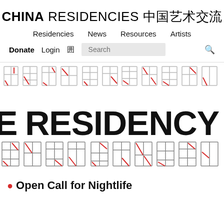CHINA RESIDENCIES 中国艺术交流
Residencies  News  Resources  Artists
Donate  Login  団  Search
[Figure (illustration): Decorative banner image showing stylized Chinese characters in outline form with red accent strokes on white background, overlaid with large bold black text '(K)E RESIDENCY' in the center]
🔴 Open Call for Nightlife